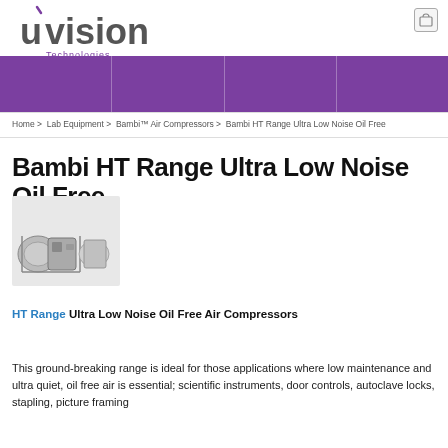uvison Technologies
Home > Lab Equipment > Bambi™ Air Compressors > Bambi HT Range Ultra Low Noise Oil Free
Bambi HT Range Ultra Low Noise Oil Free
[Figure (photo): Photo of Bambi HT Range air compressor units on a white background]
HT Range Ultra Low Noise Oil Free Air Compressors
This ground-breaking range is ideal for those applications where low maintenance and ultra quiet, oil free air is essential; scientific instruments, door controls, autoclave locks, stapling, picture framing